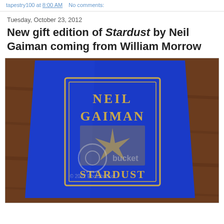tapestry100 at 8:00 AM    No comments:
Tuesday, October 23, 2012
New gift edition of Stardust by Neil Gaiman coming from William Morrow
[Figure (photo): A bright blue hardcover book with a gold embossed design showing 'Neil Gaiman' and 'Stardust' text on the cover, photographed at an angle on a wooden surface. A Photobucket watermark is visible on the image.]